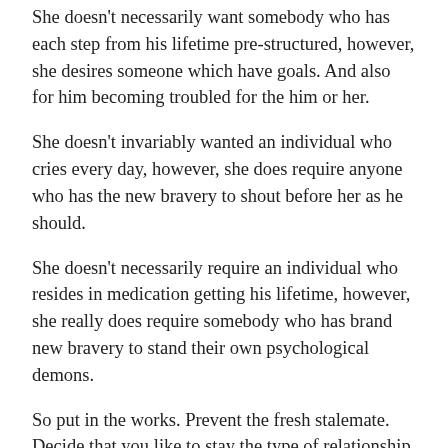She doesn’t necessarily want somebody who has each step from his lifetime pre-structured, however, she desires someone which have goals. And also for him becoming troubled for the him or her.
She doesn’t invariably wanted an individual who cries every day, however, she does require anyone who has the new bravery to shout before her as he should.
She doesn’t necessarily require an individual who resides in medication getting his lifetime, however, she really does require somebody who has brand new bravery to stand their own psychological demons.
So put in the works. Prevent the fresh stalemate. Decide that you like to stay the type of relationship that every people do not enjoys therefore must set up the trouble needed t o become that type of kid.
The women of the globe is looking forward to all of us. As well as want me to step-in just as poorly once the we truly